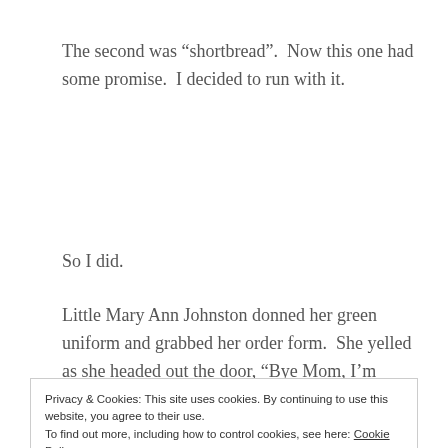The second was “shortbread”.  Now this one had some promise.  I decided to run with it.
So I did.
Little Mary Ann Johnston donned her green uniform and grabbed her order form.  She yelled as she headed out the door, “Bye Mom, I’m going to sell cookies.”
Privacy & Cookies: This site uses cookies. By continuing to use this website, you agree to their use.
To find out more, including how to control cookies, see here: Cookie Policy
Close and accept